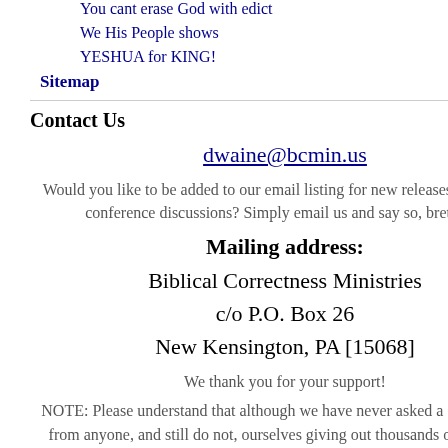You cant erase God with edict
We His People shows
YESHUA for KING!
Sitemap
Contact Us
dwaine@bcmin.us
Would you like to be added to our email listing for new releases, shows and conference discussions?  Simply email us and say so, brethren!
Mailing address:
Biblical Correctness Ministries
c/o P.O. Box 26
New Kensington, PA [15068]
We thank you for your support!
NOTE:  Please understand that although we have never asked a single penny from anyone, and still do not, ourselves giving out thousands of dollars of materials every year out of our own